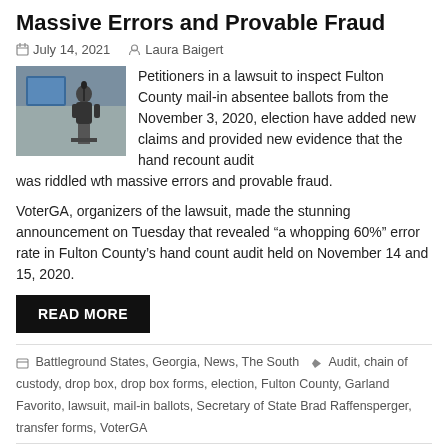Massive Errors and Provable Fraud
July 14, 2021   Laura Baigert
[Figure (photo): A person speaking at a podium in a room, with equipment visible in background.]
Petitioners in a lawsuit to inspect Fulton County mail-in absentee ballots from the November 3, 2020, election have added new claims and provided new evidence that the hand recount audit was riddled wth massive errors and provable fraud.
VoterGA, organizers of the lawsuit, made the stunning announcement on Tuesday that revealed “a whopping 60%” error rate in Fulton County’s hand count audit held on November 14 and 15, 2020.
READ MORE
Battleground States, Georgia, News, The South   Audit, chain of custody, drop box, drop box forms, election, Fulton County, Garland Favorito, lawsuit, mail-in ballots, Secretary of State Brad Raffensperger, transfer forms, VoterGA
11 Comments